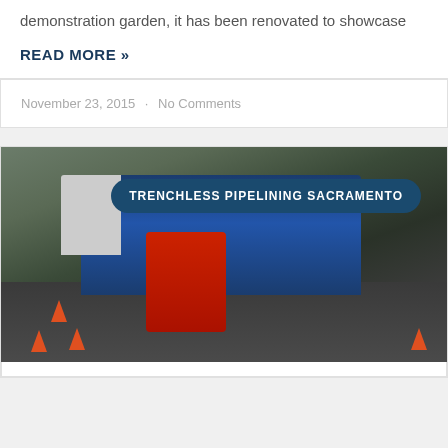demonstration garden, it has been renovated to showcase
READ MORE »
November 23, 2015 · No Comments
[Figure (photo): Workers operating trenchless pipelining equipment on a residential street with orange traffic cones and a blue service truck in Sacramento. An overlay badge reads 'TRENCHLESS PIPELINING SACRAMENTO'.]